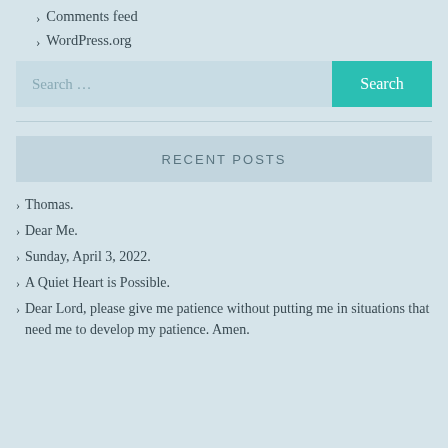› Comments feed
› WordPress.org
RECENT POSTS
› Thomas.
› Dear Me.
› Sunday, April 3, 2022.
› A Quiet Heart is Possible.
› Dear Lord, please give me patience without putting me in situations that need me to develop my patience. Amen.